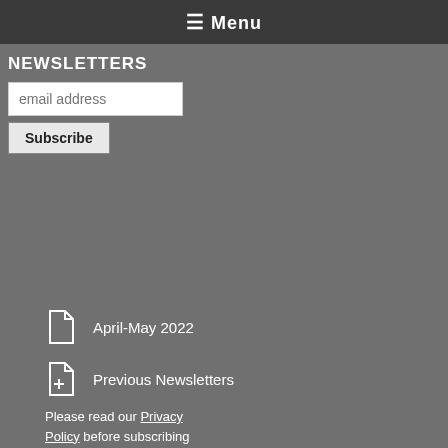≡ Menu
NEWSLETTERS
email address
Subscribe
April-May 2022
Previous Newsletters
Please read our Privacy Policy before subscribing
CONTACT US
Carrer Avinvó, 15